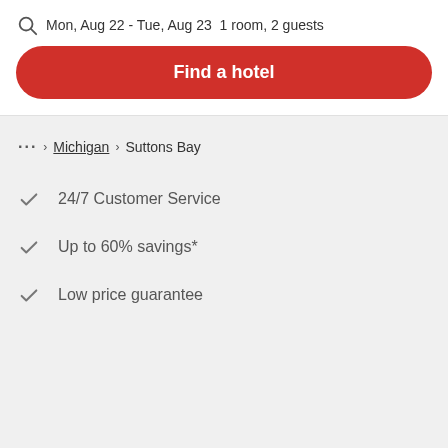Mon, Aug 22 - Tue, Aug 23  1 room, 2 guests
Find a hotel
... > Michigan > Suttons Bay
24/7 Customer Service
Up to 60% savings*
Low price guarantee